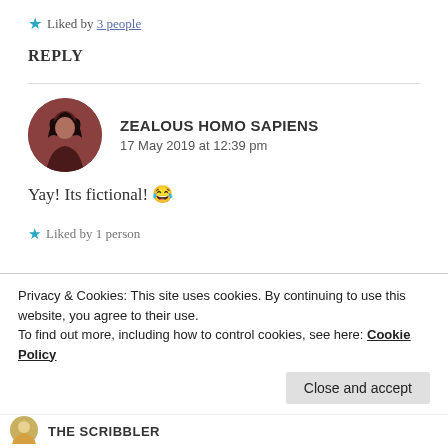★ Liked by 3 people
REPLY
ZEALOUS HOMO SAPIENS
17 May 2019 at 12:39 pm
Yay! Its fictional! 😂
★ Liked by 1 person
Privacy & Cookies: This site uses cookies. By continuing to use this website, you agree to their use.
To find out more, including how to control cookies, see here: Cookie Policy
Close and accept
THE SCRIBBLER